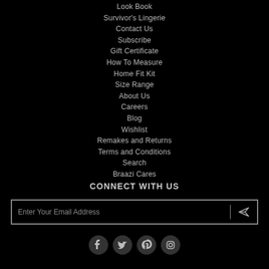Look Book
Survivor's Lingerie
Contact Us
Subscribe
Gift Certificate
How To Measure
Home Fit Kit
Size Range
About Us
Careers
Blog
Wishlist
Remakes and Returns
Terms and Conditions
Search
Braazi Cares
CONNECT WITH US
Enter Your Email Address
[Figure (infographic): Social media icons: Facebook, Twitter, Pinterest, Instagram]